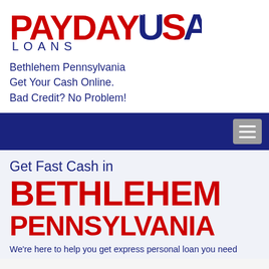[Figure (logo): Payday Loans USA logo with red 'PAYDAY', blue 'USA' with stars, and dark blue 'LOANS' text]
Bethlehem Pennsylvania Get Your Cash Online. Bad Credit? No Problem!
[Figure (screenshot): Dark navy blue navigation bar with hamburger menu icon on the right]
Get Fast Cash in BETHLEHEM PENNSYLVANIA
We're here to help you get express personal loan you need